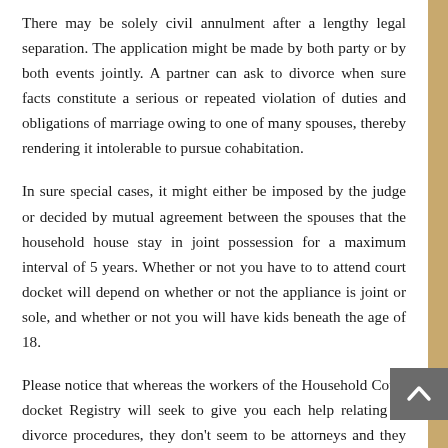There may be solely civil annulment after a lengthy legal separation. The application might be made by both party or by both events jointly. A partner can ask to divorce when sure facts constitute a serious or repeated violation of duties and obligations of marriage owing to one of many spouses, thereby rendering it intolerable to pursue cohabitation.
In sure special cases, it might either be imposed by the judge or decided by mutual agreement between the spouses that the household house stay in joint possession for a maximum interval of 5 years. Whether or not you have to to attend court docket will depend on whether or not the appliance is joint or sole, and whether or not you will have kids beneath the age of 18.
Please notice that whereas the workers of the Household Court docket Registry will seek to give you each help relating to divorce procedures, they don't seem to be attorneys and they don't to be permitted to offer legal recommendation. The decision of